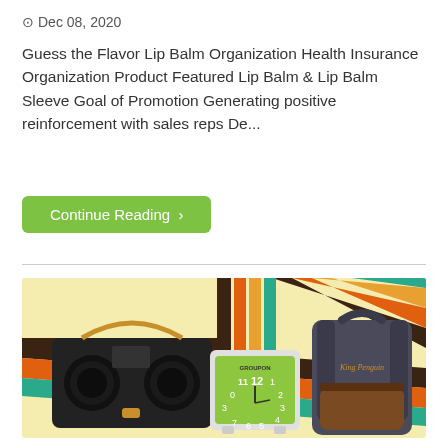⊙Dec 08, 2020
Guess the Flavor Lip Balm Organization Health Insurance Organization Product Featured Lip Balm & Lip Balm Sleeve Goal of Promotion Generating positive reinforcement with sales reps De...
Continue Reading ›
[Figure (photo): Promotional product photo on a retro-styled background with colorful diagonal stripes (brown, orange, teal, yellow). Features a black portable Bluetooth speaker/boombox, a green analog alarm clock branded GROUPON showing approximately 12:30, and a dark grey denim backpack with brown leather accents and script logo.]